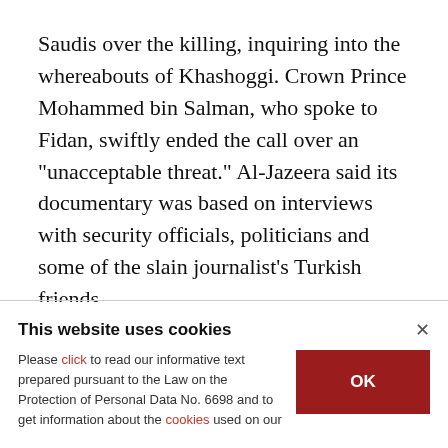Saudis over the killing, inquiring into the whereabouts of Khashoggi. Crown Prince Mohammed bin Salman, who spoke to Fidan, swiftly ended the call over an "unacceptable threat." Al-Jazeera said its documentary was based on interviews with security officials, politicians and some of the slain journalist's Turkish friends.
Khashoggi was killed and dismembered by a group of Saudi operatives in the country's consulate in
This website uses cookies
Please click to read our informative text prepared pursuant to the Law on the Protection of Personal Data No. 6698 and to get information about the cookies used on our